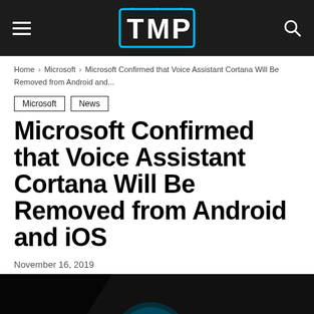TMP
Home › Microsoft › Microsoft Confirmed that Voice Assistant Cortana Will Be Removed from Android and...
Microsoft
News
Microsoft Confirmed that Voice Assistant Cortana Will Be Removed from Android and iOS
November 16, 2019
[Figure (photo): Close-up of a smartphone screen showing the Cortana voice assistant interface with a glowing teal circle on a dark background and partial text 'ld you like' visible]